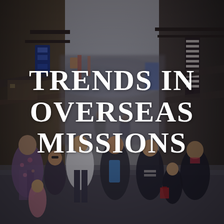[Figure (photo): A busy street scene with a large crowd of people walking through what appears to be a Japanese shopping street or market district. Buildings with signage line both sides of the street. The scene has a muted, slightly desaturated color tone. People of various ethnicities are visible in the foreground.]
TRENDS IN OVERSEAS MISSIONS